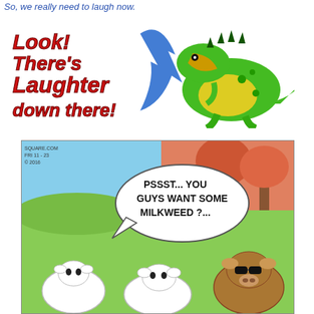So, we really need to laugh now.
[Figure (illustration): Humorous banner image with text 'Look! There's Laughter down there!' in red italic font with a blue arrow pointing down, and a cartoon green dragon on the right side laughing.]
[Figure (illustration): Comic strip panel showing cartoon cows in a field. A speech bubble reads 'PSSST... YOU GUYS WANT SOME MILKWEED ?...' A brown shaggy cow faces two white cows from behind. Autumn trees in background. Comics strip dated 11-23, 2016 from SquAre.com.]